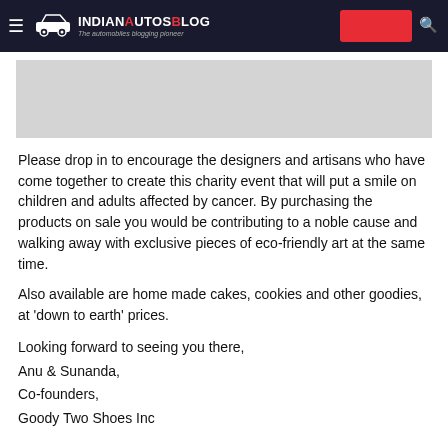IndianAutosBlog — The automobiles blogging pioneer
[Figure (photo): Light grey image placeholder area below the header navigation bar]
Please drop in to encourage the designers and artisans who have come together to create this charity event that will put a smile on children and adults affected by cancer. By purchasing the products on sale you would be contributing to a noble cause and walking away with exclusive pieces of eco-friendly art at the same time.
Also available are home made cakes, cookies and other goodies, at 'down to earth' prices.
Looking forward to seeing you there,
Anu & Sunanda,
Co-founders,
Goody Two Shoes Inc